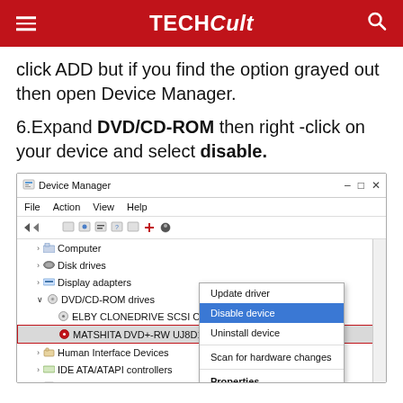TECHCult
click ADD but if you find the option grayed out then open Device Manager.
6. Expand DVD/CD-ROM then right-click on your device and select disable.
[Figure (screenshot): Windows Device Manager screenshot showing DVD/CD-ROM drives section expanded with MATSHITA DVD+-RW UJ8D1 selected and a right-click context menu open showing options: Update driver, Disable device (highlighted in blue), Uninstall device, Scan for hardware changes, Properties]